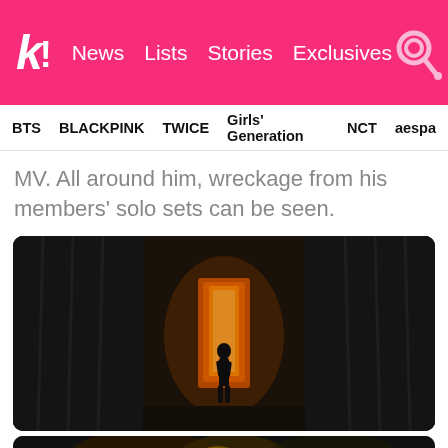Koreaboo — News | Lists | Stories | Exclusives
BTS  BLACKPINK  TWICE  Girls' Generation  NCT  aespa
MV. All around him, wreckage from his members' solo sets can be seen.
[Figure (photo): Dark cinematic scene showing a silhouette of a person walking toward a glowing orange doorway at the end of a dark corridor, with fabric/curtains on the sides and debris on the floor.]
[Figure (photo): Partial view of a second image at the bottom of the page, appears to show a colorful scene cropped off.]